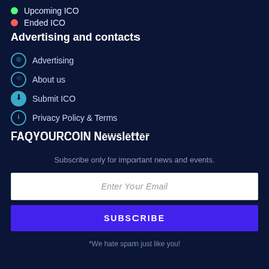Upcoming ICO
Ended ICO
Advertising and contacts
Advertising
About us
Submit ICO
Privacy Policy & Terms
FAQYOURCOIN Newsletter
Subscribe only for important news and events.
Enter Your Email
SUBSCRIBE
*We hate spam just like you!